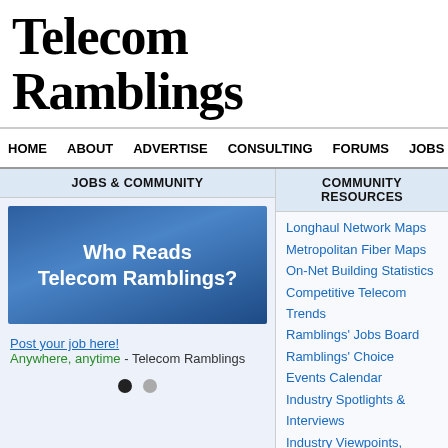Telecom Ramblings
HOME  ABOUT  ADVERTISE  CONSULTING  FORUMS  JOBS  CO...
JOBS & COMMUNITY
[Figure (other): Blue gradient banner reading 'Who Reads Telecom Ramblings?']
Post your job here!
Anywhere, anytime - Telecom Ramblings
COMMUNITY RESOURCES
Longhaul Network Maps
Metropolitan Fiber Maps
On-Net Building Statistics
Competitive Telecom Trends
Ramblings' Jobs Board
Ramblings' Choice
Events Calendar
Industry Spotlights & Interviews
Industry Viewpoints, Sponsored Posts
Newswire: by Date, Company, Subject
AT&T Makes Security Move, to Acquire AlienVau...
July 11th, 2018 by Rob Powell · Leave a Comment
AT&T made a move yesterday to bolster its network security portfolio with the a...